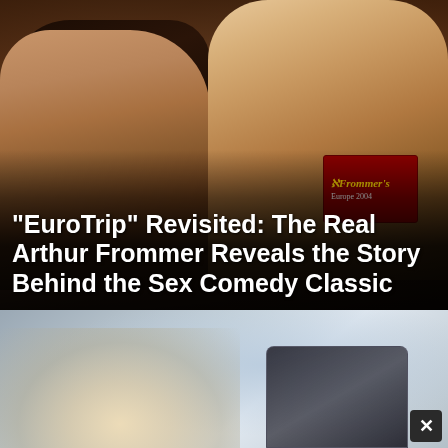[Figure (photo): Movie still from EuroTrip showing two young actors at a party, with one holding a Frommer's Europe 2004 travel guide. Dark overlay on bottom half with article title.]
"EuroTrip" Revisited: The Real Arthur Frommer Reveals the Story Behind the Sex Comedy Classic
[Figure (photo): Advertisement image showing popcorn in foreground and a remote control or tablet in background, with blurred bright background. Close button (X) in bottom right corner.]